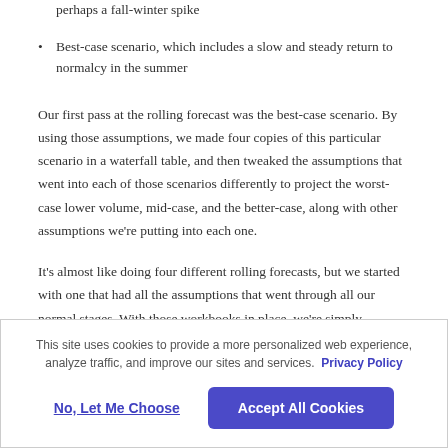perhaps a fall-winter spike
Best-case scenario, which includes a slow and steady return to normalcy in the summer
Our first pass at the rolling forecast was the best-case scenario. By using those assumptions, we made four copies of this particular scenario in a waterfall table, and then tweaked the assumptions that went into each of those scenarios differently to project the worst-case lower volume, mid-case, and the better-case, along with other assumptions we're putting into each one.
It's almost like doing four different rolling forecasts, but we started with one that had all the assumptions that went through all our normal stages. With those workbooks in place, we're simply tweaking the volumes at a high-level and then adding assumptions to help project the differences in the
This site uses cookies to provide a more personalized web experience, analyze traffic, and improve our sites and services. Privacy Policy
No, Let Me Choose
Accept All Cookies